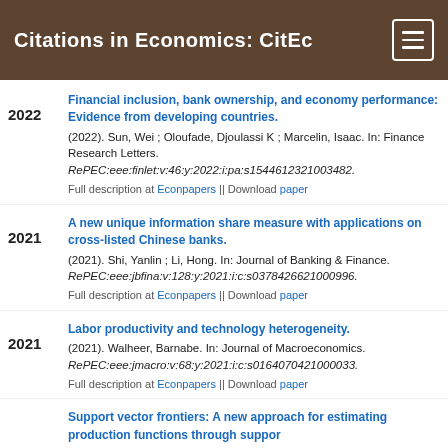Citations in Economics: CitEc
Financial inclusion, bank ownership, and economy performance: Evidence from developing countries. (2022). Sun, Wei ; Oloufade, Djoulassi K ; Marcelin, Isaac. In: Finance Research Letters. RePEc:eee:finlet:v:46:y:2022:i:pa:s1544612321003482. Full description at Econpapers || Download paper
A new unique information share measure with applications on cross-listed Chinese banks. (2021). Shi, Yanlin ; Li, Hong. In: Journal of Banking & Finance. RePEc:eee:jbfina:v:128:y:2021:i:c:s0378426621000996. Full description at Econpapers || Download paper
Labor productivity and technology heterogeneity. (2021). Walheer, Barnabe. In: Journal of Macroeconomics. RePEc:eee:jmacro:v:68:y:2021:i:c:s0164070421000033. Full description at Econpapers || Download paper
Support vector frontiers: A new approach for estimating production functions through support...